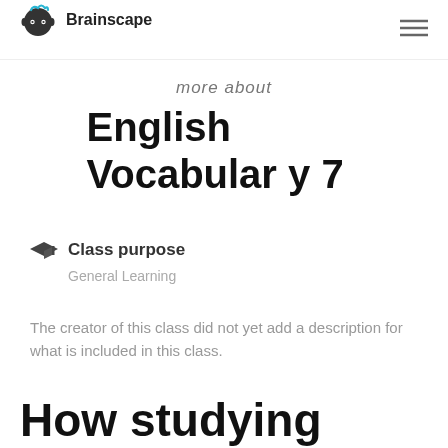Brainscape
more about
English Vocabulary 7
Class purpose
General Learning
The creator of this class did not yet add a description for what is included in this class.
How studying